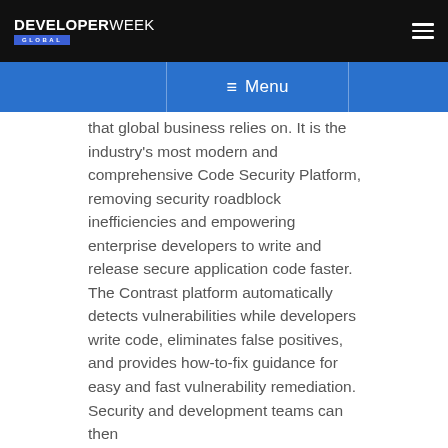DEVELOPERWEEK GLOBAL
Menu
that global business relies on. It is the industry's most modern and comprehensive Code Security Platform, removing security roadblock inefficiencies and empowering enterprise developers to write and release secure application code faster. The Contrast platform automatically detects vulnerabilities while developers write code, eliminates false positives, and provides how-to-fix guidance for easy and fast vulnerability remediation. Security and development teams can then